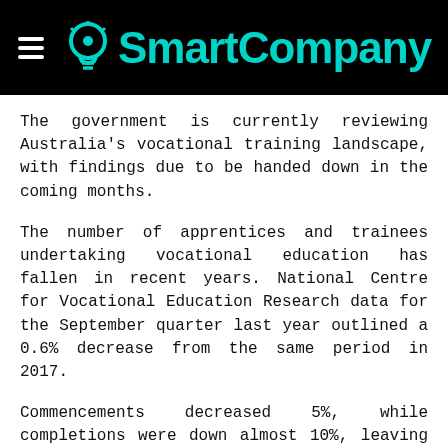SmartCompany
The government is currently reviewing Australia's vocational training landscape, with findings due to be handed down in the coming months.
The number of apprentices and trainees undertaking vocational education has fallen in recent years. National Centre for Vocational Education Research data for the September quarter last year outlined a 0.6% decrease from the same period in 2017.
Commencements decreased 5%, while completions were down almost 10%, leaving just over 267,000 in training.
Successive governments have struggled to find the right policy setting for vocational training, following the VET FEE-HELP scandal several years ago and a